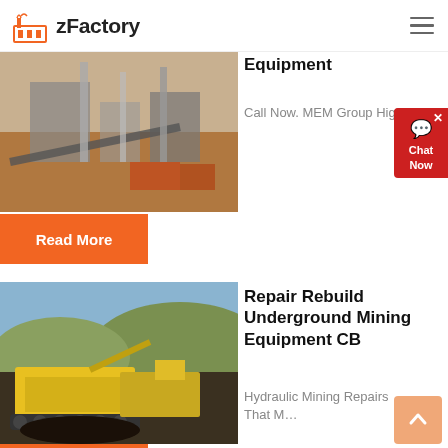zFactory
Equipment
Call Now. MEM Group Highwa…
[Figure (photo): Outdoor mining facility with industrial machinery and conveyor belts in a desert/arid environment]
Read More
Repair Rebuild Underground Mining Equipment CB
Hydraulic Mining Repairs That M…
[Figure (photo): Large yellow mobile crushing/screening equipment outdoors near hills]
Read More